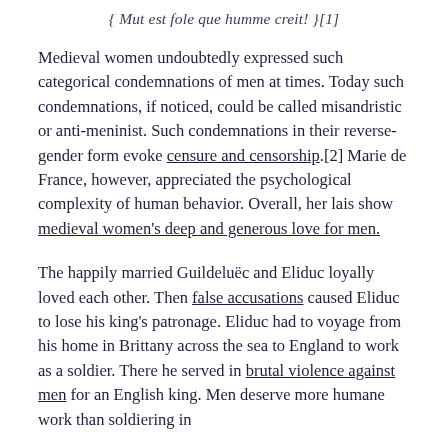{ Mut est fole que humme creit! }[1]
Medieval women undoubtedly expressed such categorical condemnations of men at times. Today such condemnations, if noticed, could be called misandristic or anti-meninist. Such condemnations in their reverse-gender form evoke censure and censorship.[2] Marie de France, however, appreciated the psychological complexity of human behavior. Overall, her lais show medieval women’s deep and generous love for men.
The happily married Guildeluëc and Eliduc loyally loved each other. Then false accusations caused Eliduc to lose his king’s patronage. Eliduc had to voyage from his home in Brittany across the sea to England to work as a soldier. There he served in brutal violence against men for an English king. Men deserve more humane work than soldiering in